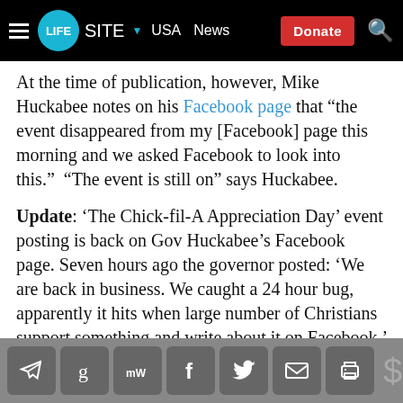LifeSite USA News | Donate
At the time of publication, however, Mike Huckabee notes on his Facebook page that “the event disappeared from my [Facebook] page this morning and we asked Facebook to look into this.” “The event is still on” says Huckabee.
Update: ‘The Chick-fil-A Appreciation Day’ event posting is back on Gov Huckabee’s Facebook page. Seven hours ago the governor posted: ‘We are back in business. We caught a 24 hour bug, apparently it hits when large number of Christians support something and write about it on Facebook.’ Over 100, 000 people are currently signed up to participate.
TOPICS
[Figure (infographic): Social sharing icons bar: Telegram, Gettr, MeWe, Facebook, Twitter, Email, Print, and a dollar sign donate icon]